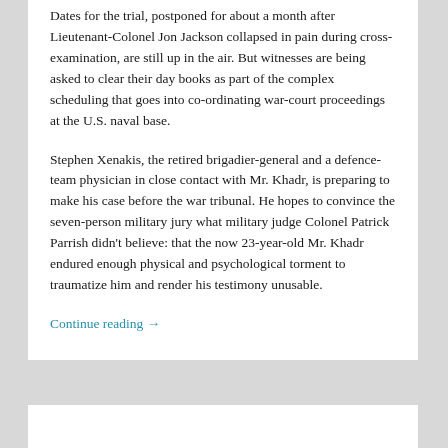Dates for the trial, postponed for about a month after Lieutenant-Colonel Jon Jackson collapsed in pain during cross-examination, are still up in the air. But witnesses are being asked to clear their day books as part of the complex scheduling that goes into co-ordinating war-court proceedings at the U.S. naval base.
Stephen Xenakis, the retired brigadier-general and a defence-team physician in close contact with Mr. Khadr, is preparing to make his case before the war tribunal. He hopes to convince the seven-person military jury what military judge Colonel Patrick Parrish didn't believe: that the now 23-year-old Mr. Khadr endured enough physical and psychological torment to traumatize him and render his testimony unusable.
Continue reading →